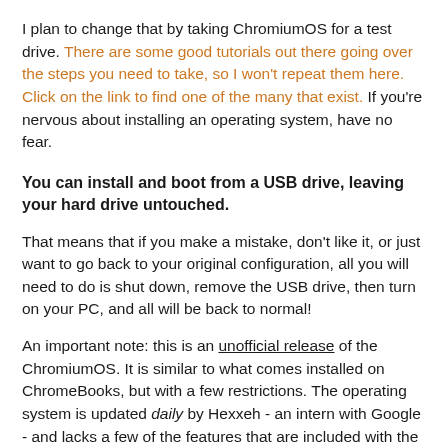I plan to change that by taking ChromiumOS for a test drive. There are some good tutorials out there going over the steps you need to take, so I won't repeat them here. Click on the link to find one of the many that exist. If you're nervous about installing an operating system, have no fear.
You can install and boot from a USB drive, leaving your hard drive untouched.
That means that if you make a mistake, don't like it, or just want to go back to your original configuration, all you will need to do is shut down, remove the USB drive, then turn on your PC, and all will be back to normal!
An important note: this is an unofficial release of the ChromiumOS. It is similar to what comes installed on ChromeBooks, but with a few restrictions. The operating system is updated daily by Hexxeh - an intern with Google - and lacks a few of the features that are included with the official version. At the time of this writing, Flash, MP3, and PDF were not supported due to licensing restrictions (note